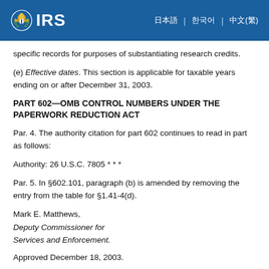IRS
specific records for purposes of substantiating research credits.
(e) Effective dates. This section is applicable for taxable years ending on or after December 31, 2003.
PART 602—OMB CONTROL NUMBERS UNDER THE PAPERWORK REDUCTION ACT
Par. 4. The authority citation for part 602 continues to read in part as follows:
Authority: 26 U.S.C. 7805 * * *
Par. 5. In §602.101, paragraph (b) is amended by removing the entry from the table for §1.41-4(d).
Mark E. Matthews,
Deputy Commissioner for
Services and Enforcement.
Approved December 18, 2003.